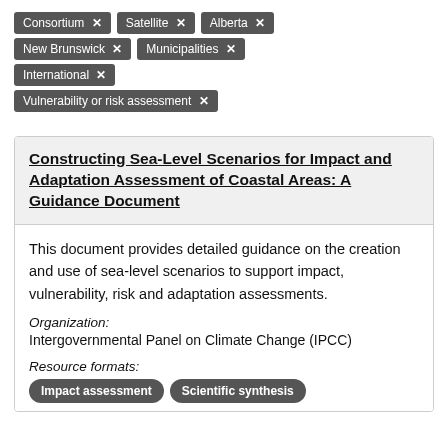Consortium ✕
Satellite ✕
Alberta ✕
New Brunswick ✕
Municipalities ✕
International ✕
Vulnerability or risk assessment ✕
Constructing Sea-Level Scenarios for Impact and Adaptation Assessment of Coastal Areas: A Guidance Document
This document provides detailed guidance on the creation and use of sea-level scenarios to support impact, vulnerability, risk and adaptation assessments.
Organization:
Intergovernmental Panel on Climate Change (IPCC)
Resource formats:
Impact assessment
Scientific synthesis